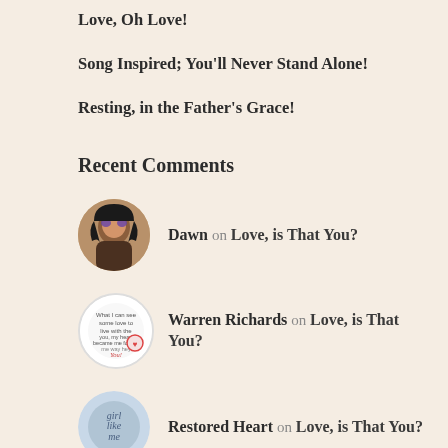Love, Oh Love!
Song Inspired; You'll Never Stand Alone!
Resting, in the Father's Grace!
Recent Comments
Dawn on Love, is That You?
Warren Richards on Love, is That You?
Restored Heart on Love, is That You?
findthegoodthebadthe… on Love, is That You?
Dawn Minott on Love, is That You?